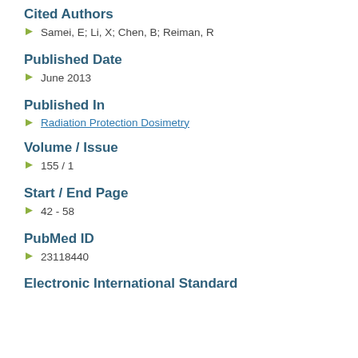Cited Authors
Samei, E; Li, X; Chen, B; Reiman, R
Published Date
June 2013
Published In
Radiation Protection Dosimetry
Volume / Issue
155 / 1
Start / End Page
42 - 58
PubMed ID
23118440
Electronic International Standard